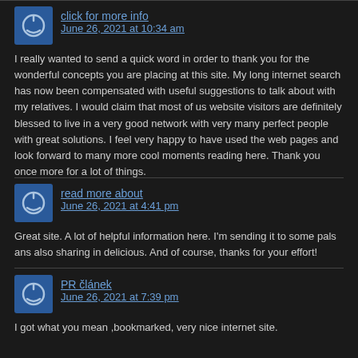click for more info
June 26, 2021 at 10:34 am
I really wanted to send a quick word in order to thank you for the wonderful concepts you are placing at this site. My long internet search has now been compensated with useful suggestions to talk about with my relatives. I would claim that most of us website visitors are definitely blessed to live in a very good network with very many perfect people with great solutions. I feel very happy to have used the web pages and look forward to many more cool moments reading here. Thank you once more for a lot of things.
read more about
June 26, 2021 at 4:41 pm
Great site. A lot of helpful information here. I'm sending it to some pals ans also sharing in delicious. And of course, thanks for your effort!
PR článek
June 26, 2021 at 7:39 pm
I got what you mean ,bookmarked, very nice internet site.